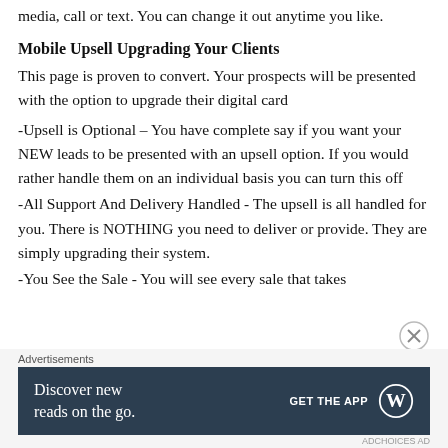media, call or text. You can change it out anytime you like.
Mobile Upsell Upgrading Your Clients
This page is proven to convert. Your prospects will be presented with the option to upgrade their digital card
-Upsell is Optional – You have complete say if you want your NEW leads to be presented with an upsell option. If you would rather handle them on an individual basis you can turn this off
-All Support And Delivery Handled - The upsell is all handled for you. There is NOTHING you need to deliver or provide. They are simply upgrading their system.
-You See the Sale - You will see every sale that takes
[Figure (other): Advertisement banner: 'Discover new reads on the go. GET THE APP' with WordPress logo on dark background]